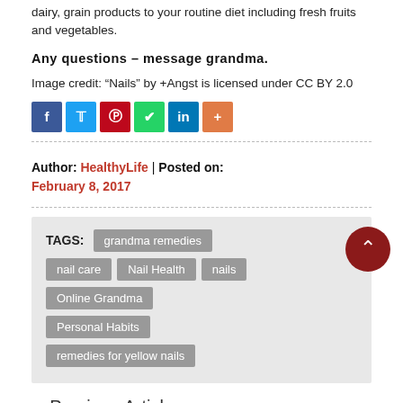dairy, grain products to your routine diet including fresh fruits and vegetables.
Any questions – message grandma.
Image credit: “Nails” by +Angst is licensed under CC BY 2.0
[Figure (infographic): Social sharing icons: Facebook, Twitter, Pinterest, WhatsApp, LinkedIn, More]
Author: HealthyLife | Posted on: February 8, 2017
TAGS: grandma remedies, nail care, Nail Health, nails, Online Grandma, Personal Habits, remedies for yellow nails
Previous Article